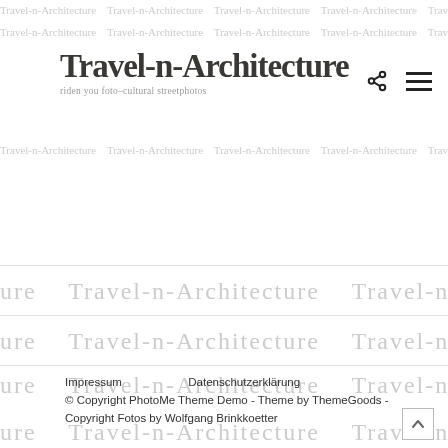Travel-n-Architecture – riden you foto-cultural streetphotos
[Figure (logo): Travel-n-Architecture handwritten script logo with subtitle 'riden you foto-cultural streetphotos', share icon and hamburger menu icon in top right]
Impressum    Datenschutzerklärung
© Copyright PhotoMe Theme Demo - Theme by ThemeGoods - Copyright Fotos by Wolfgang Brinkkoetter